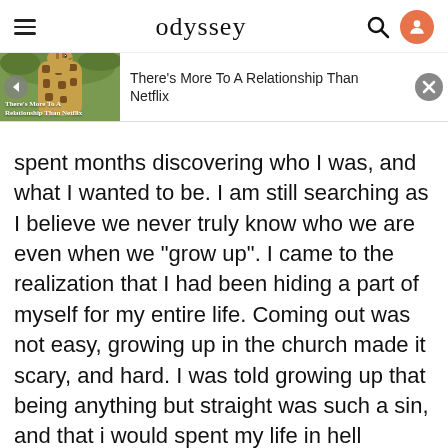odyssey
[Figure (screenshot): Video notification bar showing a giraffe thumbnail with text 'There's More To A Relationship Than Netflix' and a close button]
spent months discovering who I was, and what I wanted to be. I am still searching as I believe we never truly know who we are even when we "grow up". I came to the realization that I had been hiding a part of myself for my entire life. Coming out was not easy, growing up in the church made it scary, and hard. I was told growing up that being anything but straight was such a sin, and that i would spent my life in hell because of it. I came out to my parents when I was 25 years old. I picked up the phone and called my mom, and uttered the words "I'm